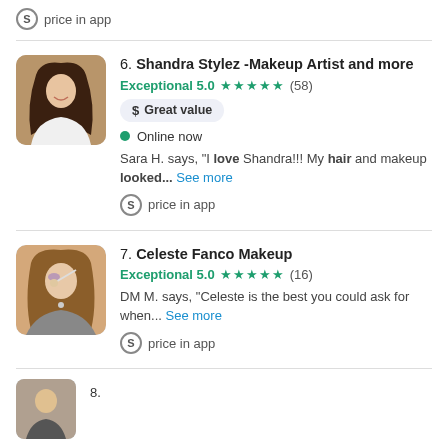price in app
6. Shandra Stylez -Makeup Artist and more
Exceptional 5.0 ★★★★★ (58)
$ Great value
● Online now
Sara H. says, "I love Shandra!!! My hair and makeup looked... See more
price in app
7. Celeste Fanco Makeup
Exceptional 5.0 ★★★★★ (16)
DM M. says, "Celeste is the best you could ask for when... See more
price in app
8. ...